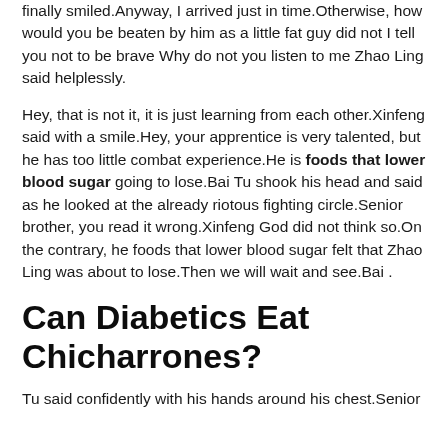finally smiled.Anyway, I arrived just in time.Otherwise, how would you be beaten by him as a little fat guy did not I tell you not to be brave Why do not you listen to me Zhao Ling said helplessly.
Hey, that is not it, it is just learning from each other.Xinfeng said with a smile.Hey, your apprentice is very talented, but he has too little combat experience.He is foods that lower blood sugar going to lose.Bai Tu shook his head and said as he looked at the already riotous fighting circle.Senior brother, you read it wrong.Xinfeng God did not think so.On the contrary, he foods that lower blood sugar felt that Zhao Ling was about to lose.Then we will wait and see.Bai .
Can Diabetics Eat Chicharrones?
Tu said confidently with his hands around his chest.Senior